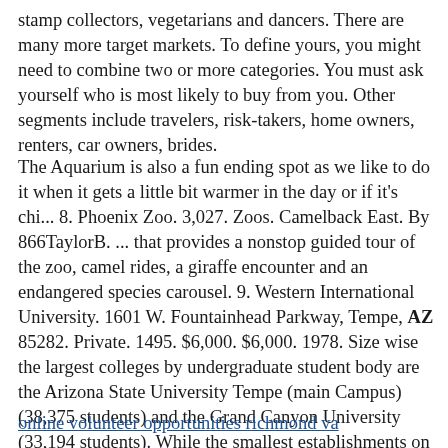stamp collectors, vegetarians and dancers. There are many more target markets. To define yours, you might need to combine two or more categories. You must ask yourself who is most likely to buy from you. Other segments include travelers, risk-takers, home owners, renters, car owners, brides.
The Aquarium is also a fun ending spot as we like to do it when it gets a little bit warmer in the day or if it's chi... 8. Phoenix Zoo. 3,027. Zoos. Camelback East. By 866TaylorB. ... that provides a nonstop guided tour of the zoo, camel rides, a giraffe encounter and an endangered species carousel. 9. Western International University. 1601 W. Fountainhead Parkway, Tempe, AZ 85282. Private. 1495. $6,000. $6,000. 1978. Size wise the largest colleges by undergraduate student body are the Arizona State University Tempe (main Campus) (38,375 students) and the Grand Canyon University (33,194 students). While the smallest establishments on the list.
online volunteer opportunities richmond va